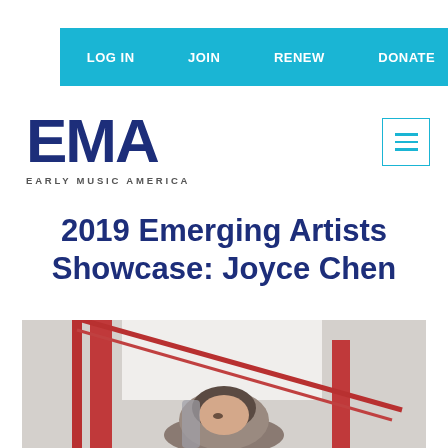LOG IN   JOIN   RENEW   DONATE
[Figure (logo): EMA Early Music America logo — large bold dark blue letters EMA with subtitle EARLY MUSIC AMERICA]
[Figure (other): Hamburger menu icon in a teal square outline]
2019 Emerging Artists Showcase: Joyce Chen
[Figure (photo): Partial photo of Joyce Chen, showing a person with red string instrument (harp or similar) visible in foreground, with red architectural elements in background]